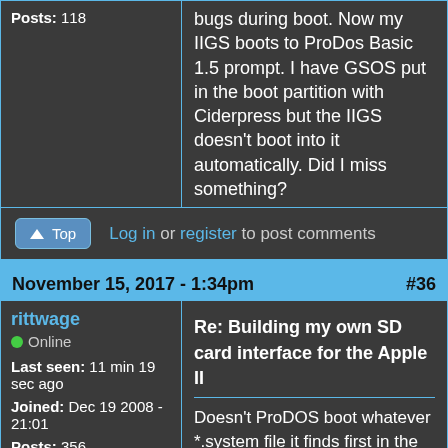Posts: 118
bugs during boot. Now my IIGS boots to ProDos Basic 1.5 prompt. I have GSOS put in the boot partition with Ciderpress but the IIGS doesn't boot into it automatically. Did I miss something?
Top | Log in or register to post comments
November 15, 2017 - 1:34pm  #36
rittwage
Online
Last seen: 11 min 19 sec ago
Joined: Dec 19 2008 - 21:01
Posts: 356
Re: Building my own SD card interface for the Apple II
Doesn't ProDOS boot whatever *.system file it finds first in the file system?